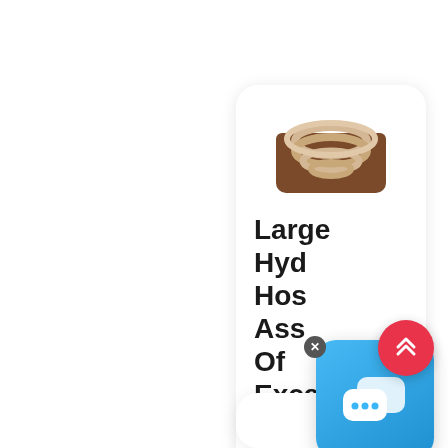[Figure (photo): Product card showing coiled rubber/beige hydraulic hose image at top, followed by product title text: 'Large Hydraulic Hose Assembly Of Excavator - Buy Rubber' and subtitle 'Large Hose A']
Large Hydraulic Hose Assembly Of Excavator - Buy Rubber
Large Hose A
[Figure (screenshot): Chat support widget overlay - blue rounded square icon with white speech bubble icons, with a close (x) button in top right corner]
[Figure (illustration): Red circular scroll-to-top button with white double chevron up arrow]